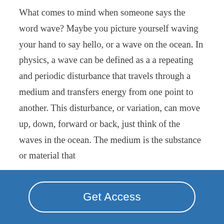What comes to mind when someone says the word wave? Maybe you picture yourself waving your hand to say hello, or a wave on the ocean. In physics, a wave can be defined as a a repeating and periodic disturbance that travels through a medium and transfers energy from one point to another. This disturbance, or variation, can move up, down, forward or back, just think of the waves in the ocean. The medium is the substance or material that
[Figure (other): Blue footer bar with a 'Get Access' button styled as a white-bordered rounded rectangle pill button on a blue background]